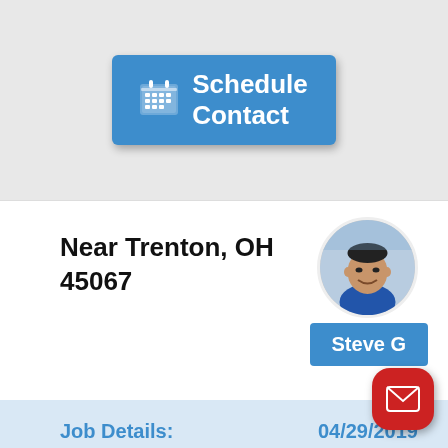[Figure (screenshot): Blue 'Schedule Contact' button with calendar icon on grey background]
Near Trenton, OH 45067
[Figure (photo): Circular profile photo of a man, labeled Steve G with blue background label]
Job Details:
04/29/2019
REFRIGERATOR FRIGIDAIRE LGHB2869TF3 "Customer states that the unit is not making ice. Found ice in the fill tube, installed new fill tube. Cycle. ; pckd up 1 5303918860 (FILL TUBE)"